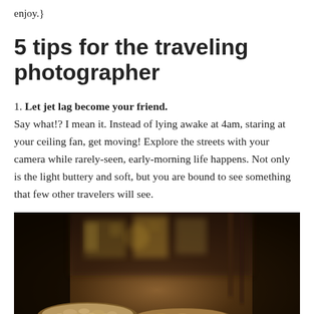enjoy.}
5 tips for the traveling photographer
1. Let jet lag become your friend. Say what!? I mean it. Instead of lying awake at 4am, staring at your ceiling fan, get moving! Explore the streets with your camera while rarely-seen, early-morning life happens. Not only is the light buttery and soft, but you are bound to see something that few other travelers will see.
[Figure (photo): A dark, moody photograph of a market stall or street food scene with nuts, spices, and various goods displayed in trays and bowls, with blurred background showing shelves and packaging.]